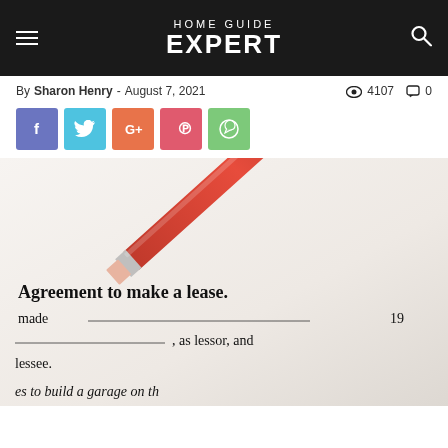HOME GUIDE EXPERT
By Sharon Henry - August 7, 2021  4107  0
[Figure (illustration): Five social media share buttons: Facebook (blue-purple), Twitter (light blue), Google+ (orange), Pinterest (pink-red), WhatsApp (green)]
[Figure (photo): Photo of a red pencil pointing at a lease agreement document. The document text reads: Agreement to make a lease. made ___, 19 ___, as lessor, and lessee. es to build a garage on the]